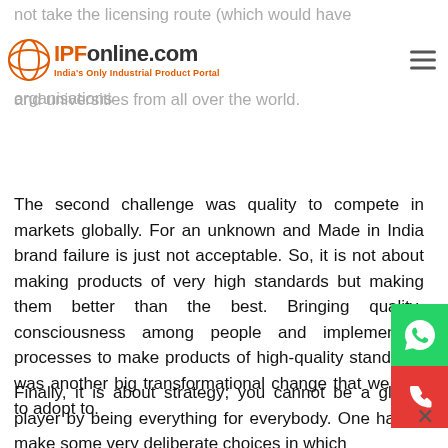IPFonline.com — India's Only Industrial Product Portal
not take the licensing route (which would have ... to build it brick by brick with the help of various organisations and universities from all over the world.
The second challenge was quality to compete in markets globally. For an unknown and Made in India brand failure is just not acceptable. So, it is not about making products of very high standards but making them better than the best. Bringing quality-consciousness among people and implementing processes to make products of high-quality standards was another big transformational change that we had to adopt to.
Finally, it is about strategy; you cannot be a global player by being everything for everybody. One has to make some very deliberate choices in which